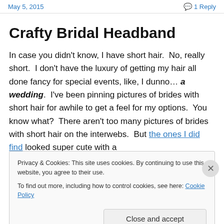May 5, 2015   1 Reply
Crafty Bridal Headband
In case you didn't know, I have short hair.  No, really short.  I don't have the luxury of getting my hair all done fancy for special events, like, I dunno… a wedding.  I've been pinning pictures of brides with short hair for awhile to get a feel for my options.  You know what?  There aren't too many pictures of brides with short hair on the interwebs.  But the ones I did find looked super cute with a
Privacy & Cookies: This site uses cookies. By continuing to use this website, you agree to their use.
To find out more, including how to control cookies, see here: Cookie Policy
Close and accept